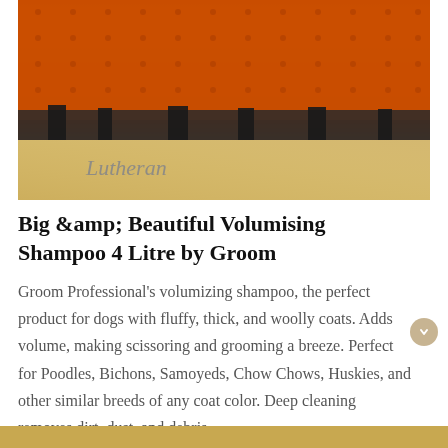[Figure (photo): Photo of a large orange industrial structure (bottom of a ship or heavy machinery) with rivets, resting on supports, with sandy/concrete ground visible below. Text overlay 'Lutheran' in italic gray.]
Big &amp; Beautiful Volumising Shampoo 4 Litre by Groom
Groom Professional's volumizing shampoo, the perfect product for dogs with fluffy, thick, and woolly coats. Adds volume, making scissoring and grooming a breeze. Perfect for Poodles, Bichons, Samoyeds, Chow Chows, Huskies, and other similar breeds of any coat color. Deep cleaning removes dirt, dust, and debris